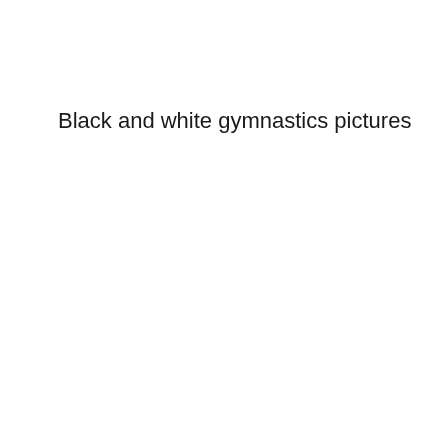Black and white gymnastics pictures